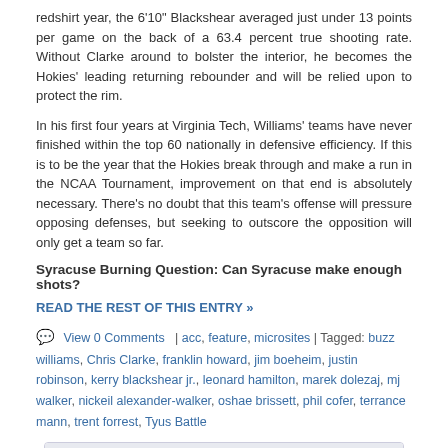redshirt year, the 6'10" Blackshear averaged just under 13 points per game on the back of a 63.4 percent true shooting rate. Without Clarke around to bolster the interior, he becomes the Hokies' leading returning rebounder and will be relied upon to protect the rim.
In his first four years at Virginia Tech, Williams' teams have never finished within the top 60 nationally in defensive efficiency. If this is to be the year that the Hokies break through and make a run in the NCAA Tournament, improvement on that end is absolutely necessary. There's no doubt that this team's offense will pressure opposing defenses, but seeking to outscore the opposition will only get a team so far.
Syracuse Burning Question: Can Syracuse make enough shots?
READ THE REST OF THIS ENTRY »
View 0 Comments | acc, feature, microsites | Tagged: buzz williams, Chris Clarke, franklin howard, jim boeheim, justin robinson, kerry blackshear jr., leonard hamilton, marek dolezaj, mj walker, nickeil alexander-walker, oshae brissett, phil cofer, terrance mann, trent forrest, Tyus Battle
SHARE THIS STORY
Like Sign Up to see what your friends like.